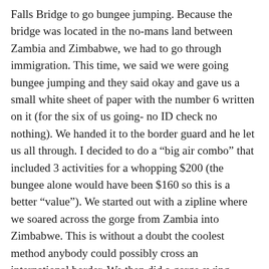Falls Bridge to go bungee jumping. Because the bridge was located in the no-mans land between Zambia and Zimbabwe, we had to go through immigration. This time, we said we were going bungee jumping and they said okay and gave us a small white sheet of paper with the number 6 written on it (for the six of us going- no ID check no nothing). We handed it to the border guard and he let us all through. I decided to do a “big air combo” that included 3 activities for a whopping $200 (the bungee alone would have been $160 so this is a better “value”). We started out with a zipline where we soared across the gorge from Zambia into Zimbabwe. This is without a doubt the coolest method anybody could possibly cross an international border. We then did a gorge swing which was essentially a tandem bungee but right side up. Finally, we did the bungee. While I have bungee jumped before, the scenery of the 400 ft gorge and the view of the world’s largest waterfall is unbeatable. When we walked back through the Zambian immigration, we showed them the bungee certificate and they